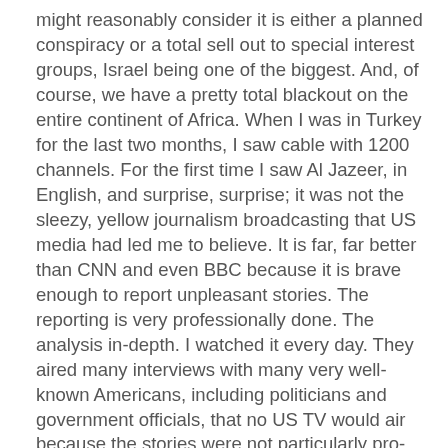might reasonably consider it is either a planned conspiracy or a total sell out to special interest groups, Israel being one of the biggest. And, of course, we have a pretty total blackout on the entire continent of Africa. When I was in Turkey for the last two months, I saw cable with 1200 channels. For the first time I saw Al Jazeer, in English, and surprise, surprise; it was not the sleezy, yellow journalism broadcasting that US media had led me to believe. It is far, far better than CNN and even BBC because it is brave enough to report unpleasant stories. The reporting is very professionally done. The analysis in-depth. I watched it every day. They aired many interviews with many very well-known Americans, including politicians and government officials, that no US TV would air because the stories were not particularly pro-Israeli and many were not complimentary to